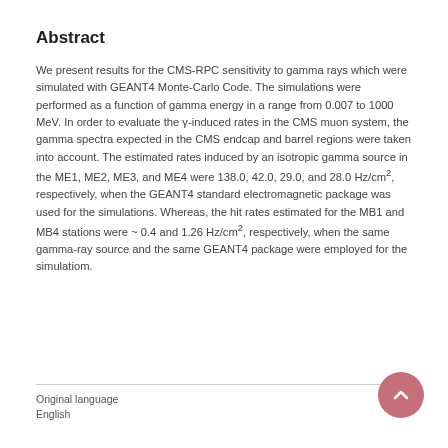Abstract
We present results for the CMS-RPC sensitivity to gamma rays which were simulated with GEANT4 Monte-Carlo Code. The simulations were performed as a function of gamma energy in a range from 0.007 to 1000 MeV. In order to evaluate the γ-induced rates in the CMS muon system, the gamma spectra expected in the CMS endcap and barrel regions were taken into account. The estimated rates induced by an isotropic gamma source in the ME1, ME2, ME3, and ME4 were 138.0, 42.0, 29.0, and 28.0 Hz/cm², respectively, when the GEANT4 standard electromagnetic package was used for the simulations. Whereas, the hit rates estimated for the MB1 and MB4 stations were ~ 0.4 and 1.26 Hz/cm², respectively, when the same gamma-ray source and the same GEANT4 package were employed for the simulatiom.
Original language
English